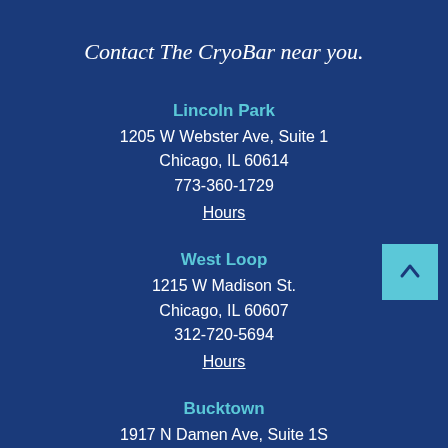Contact The CryoBar near you.
Lincoln Park
1205 W Webster Ave, Suite 1
Chicago, IL 60614
773-360-1729
Hours
West Loop
1215 W Madison St.
Chicago, IL 60607
312-720-5694
Hours
Bucktown
1917 N Damen Ave, Suite 1S